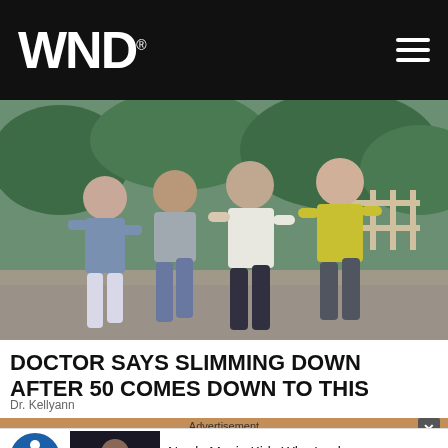WND
[Figure (photo): Group of women walking outdoors on a path, wearing athletic clothing. Trees and a fence visible in background.]
DOCTOR SAYS SLIMMING DOWN AFTER 50 COMES DOWN TO THIS
Dr. Kellyann
Advertisement
Nerdy Movie Kids Who Look Unrecognizable Today